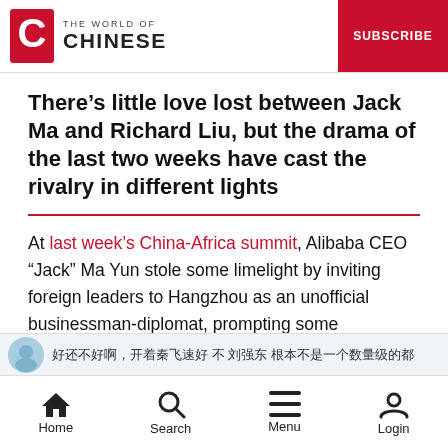THE WORLD OF CHINESE | SUBSCRIBE
There’s little love lost between Jack Ma and Richard Liu, but the drama of the last two weeks have cast the rivalry in different lights
At last week’s China-Africa summit, Alibaba CEO “Jack” Ma Yun stole some limelight by inviting foreign leaders to Hangzhou as an unofficial businessman-diplomat, prompting some unflattering comparisons on the net:
[Figure (screenshot): Partial screenshot of a Chinese social media post with avatar and Chinese text]
Home  Search  Menu  Login